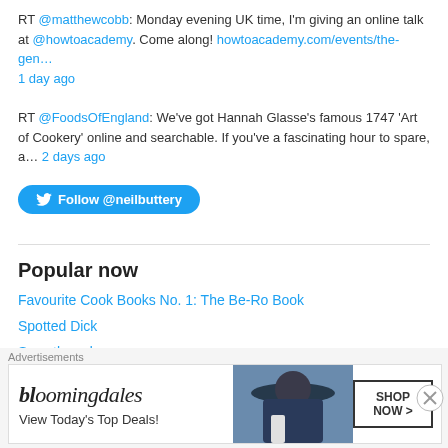RT @matthewcobb: Monday evening UK time, I'm giving an online talk at @howtoacademy. Come along! howtoacademy.com/events/the-gen… 1 day ago
RT @FoodsOfEngland: We've got Hannah Glasse's famous 1747 'Art of Cookery' online and searchable. If you've a fascinating hour to spare, a… 2 days ago
[Figure (other): Follow @neilbuttery button (Twitter blue rounded button)]
Popular now
Favourite Cook Books No. 1: The Be-Ro Book
Spotted Dick
Sweetbreads
The Gentleman's Relish
Advertisements
[Figure (other): Bloomingdales advertisement banner: bloomingdales logo, 'View Today's Top Deals!', woman with hat, SHOP NOW button]